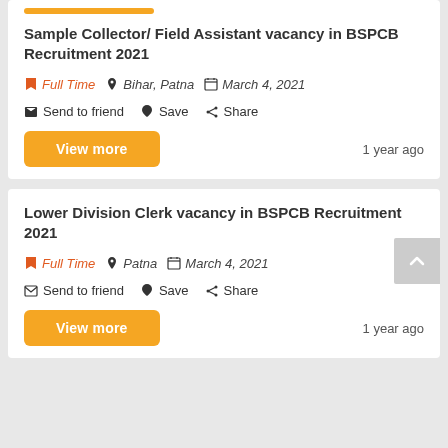Sample Collector/ Field Assistant vacancy in BSPCB Recruitment 2021
Full Time  Bihar, Patna  March 4, 2021
Send to friend  Save  Share
View more  1 year ago
Lower Division Clerk vacancy in BSPCB Recruitment 2021
Full Time  Patna  March 4, 2021
Send to friend  Save  Share
View more  1 year ago